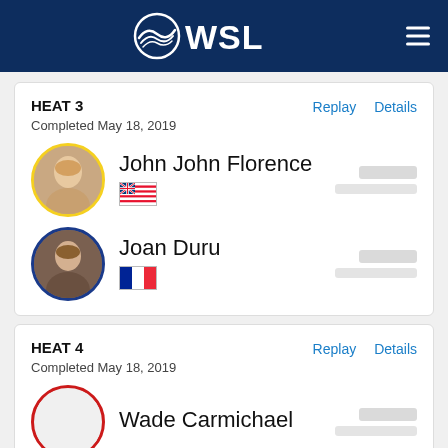WSL
HEAT 3
Completed May 18, 2019
John John Florence
Joan Duru
HEAT 4
Completed May 18, 2019
Wade Carmichael